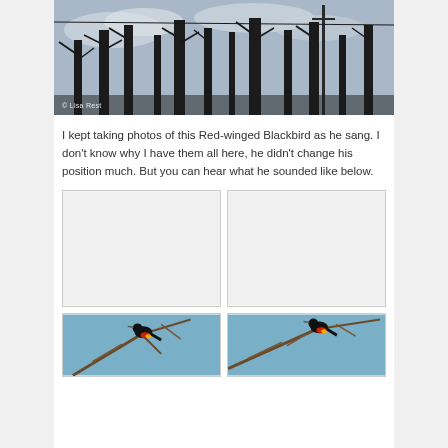[Figure (photo): Photograph of bare winter trees with dark silhouetted branches against a cloudy sky. Watermark reads '© Lisa Rest' in lower left corner.]
I kept taking photos of this Red-winged Blackbird as he sang. I don't know why I have them all here, he didn't change his position much. But you can hear what he sounded like below.
[Figure (photo): Blank/loading photo placeholder (top left of two-column grid), light gray rectangle with border.]
[Figure (photo): Blank/loading photo placeholder (top right of two-column grid), light gray rectangle with border.]
[Figure (photo): Photo of a Red-winged Blackbird perched on bare branches against a blue sky (bottom left).]
[Figure (photo): Photo of a Red-winged Blackbird perched on bare branches against a blue sky (bottom right).]